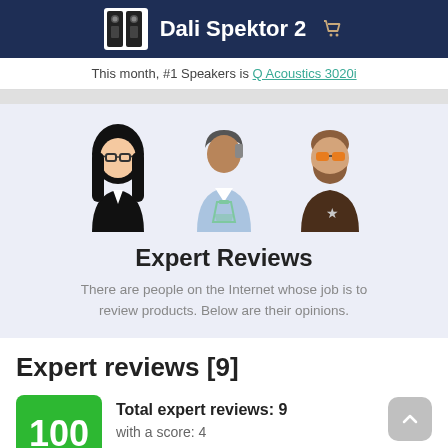Dali Spektor 2
This month, #1 Speakers is Q Acoustics 3020i
[Figure (illustration): Three expert reviewer avatars: a woman with glasses and dark hair, a scientist/researcher with lab coat, and a man with sunglasses and beard]
Expert Reviews
There are people on the Internet whose job is to review products. Below are their opinions.
Expert reviews [9]
Total expert reviews: 9
with a score: 4